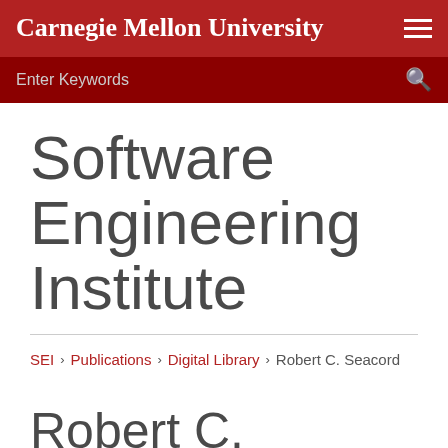Carnegie Mellon University
Enter Keywords
Software Engineering Institute
SEI › Publications › Digital Library › Robert C. Seacord
Robert C. Seacord